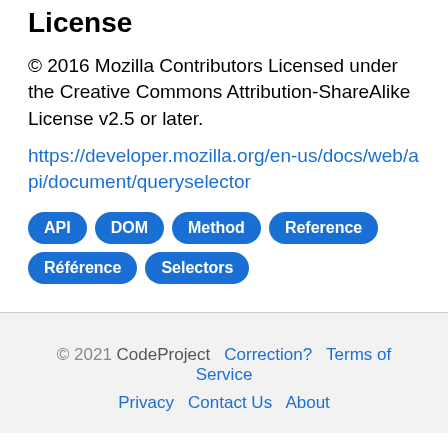License
© 2016 Mozilla Contributors Licensed under the Creative Commons Attribution-ShareAlike License v2.5 or later.
https://developer.mozilla.org/en-us/docs/web/api/document/queryselector
API
DOM
Method
Reference
Référence
Selectors
© 2021 CodeProject   Correction?   Terms of Service   Privacy   Contact Us   About